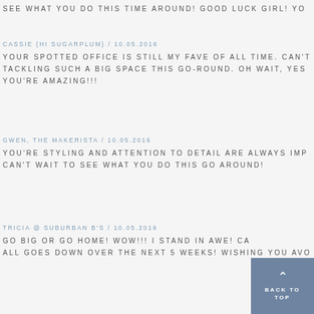SEE WHAT YOU DO THIS TIME AROUND! GOOD LUCK GIRL! YO
CASSIE {HI SUGARPLUM} / 10.05.2016
YOUR SPOTTED OFFICE IS STILL MY FAVE OF ALL TIME. CAN'T TACKLING SUCH A BIG SPACE THIS GO-ROUND. OH WAIT, YES YOU'RE AMAZING!!!
GWEN, THE MAKERISTA / 10.05.2016
YOU'RE STYLING AND ATTENTION TO DETAIL ARE ALWAYS IMP CAN'T WAIT TO SEE WHAT YOU DO THIS GO AROUND!
TRICIA @ SUBURBAN B'S / 10.05.2016
GO BIG OR GO HOME! WOW!!! I STAND IN AWE! CA ALL GOES DOWN OVER THE NEXT 5 WEEKS! WISHING YOU AVO